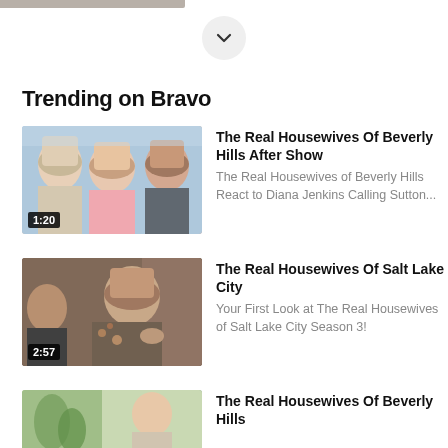[Figure (screenshot): Gray image strip partially visible at top left]
[Figure (illustration): Circular chevron/down arrow button]
Trending on Bravo
[Figure (photo): Thumbnail of three women from Real Housewives of Beverly Hills, duration 1:20]
The Real Housewives Of Beverly Hills After Show
The Real Housewives of Beverly Hills React to Diana Jenkins Calling Sutton...
[Figure (photo): Thumbnail of woman from Real Housewives of Salt Lake City, duration 2:57]
The Real Housewives Of Salt Lake City
Your First Look at The Real Housewives of Salt Lake City Season 3!
[Figure (photo): Thumbnail partially visible at bottom, Real Housewives of Beverly Hills]
The Real Housewives Of Beverly Hills